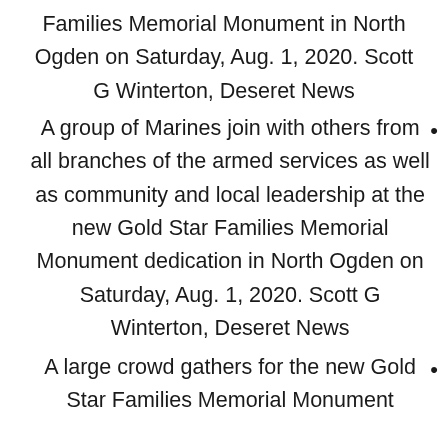Families Memorial Monument in North Ogden on Saturday, Aug. 1, 2020. Scott G Winterton, Deseret News
A group of Marines join with others from all branches of the armed services as well as community and local leadership at the new Gold Star Families Memorial Monument dedication in North Ogden on Saturday, Aug. 1, 2020. Scott G Winterton, Deseret News
A large crowd gathers for the new Gold Star Families Memorial Monument